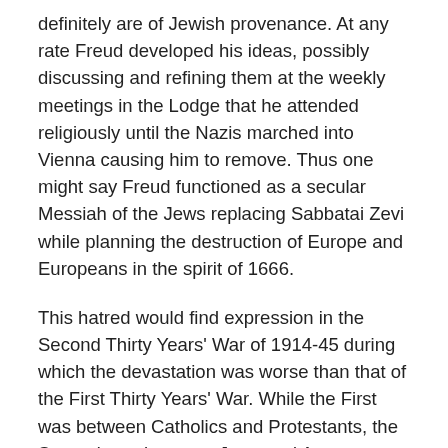definitely are of Jewish provenance. At any rate Freud developed his ideas, possibly discussing and refining them at the weekly meetings in the Lodge that he attended religiously until the Nazis marched into Vienna causing him to remove. Thus one might say Freud functioned as a secular Messiah of the Jews replacing Sabbatai Zevi while planning the destruction of Europe and Europeans in the spirit of 1666.
This hatred would find expression in the Second Thirty Years' War of 1914-45 during which the devastation was worse than that of the First Thirty Years' War. While the First was between Catholics and Protestants, the Second was between Jews and Aryans.
You may say such a thing was impossible but the template for the method was recorded in Greek Mythology as the